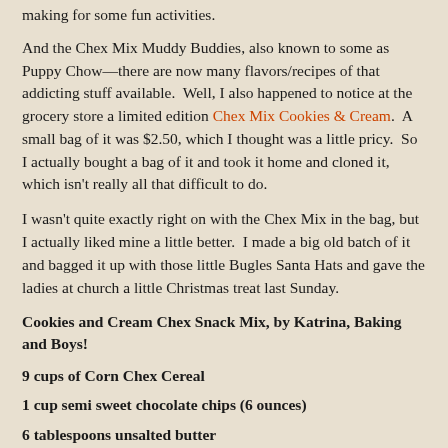making for some fun activities.
And the Chex Mix Muddy Buddies, also known to some as Puppy Chow—there are now many flavors/recipes of that addicting stuff available.  Well, I also happened to notice at the grocery store a limited edition Chex Mix Cookies & Cream.  A small bag of it was $2.50, which I thought was a little pricy.  So I actually bought a bag of it and took it home and cloned it, which isn't really all that difficult to do.
I wasn't quite exactly right on with the Chex Mix in the bag, but I actually liked mine a little better.  I made a big old batch of it and bagged it up with those little Bugles Santa Hats and gave the ladies at church a little Christmas treat last Sunday.
Cookies and Cream Chex Snack Mix, by Katrina, Baking and Boys!
9 cups of Corn Chex Cereal
1 cup semi sweet chocolate chips (6 ounces)
6 tablespoons unsalted butter